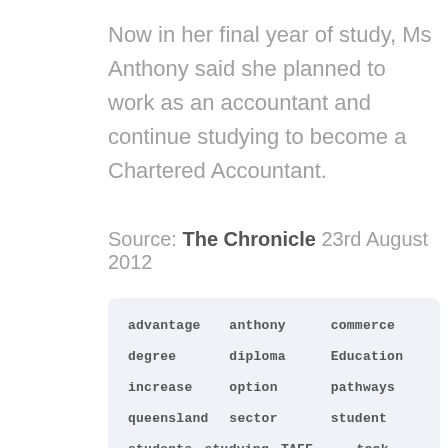Now in her final year of study, Ms Anthony said she planned to work as an accountant and continue studying to become a Chartered Accountant.
Source: The Chronicle 23rd August 2012
advantage
anthony
commerce
degree
diploma
Education
increase
option
pathways
queensland
sector
student
students
studying
TAFE
took
university
usq
work
year